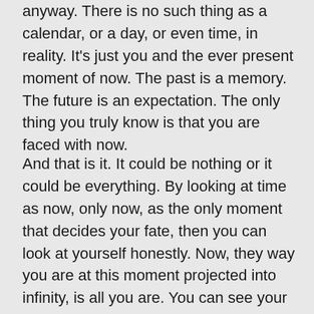anyway. There is no such thing as a calendar, or a day, or even time, in reality. It's just you and the ever present moment of now. The past is a memory. The future is an expectation. The only thing you truly know is that you are faced with now.
And that is it. It could be nothing or it could be everything. By looking at time as now, only now, as the only moment that decides your fate, then you can look at yourself honestly. Now, they way you are at this moment projected into infinity, is all you are. You can see your motivations, your intentions, your present mindedness as a true reflection of who you are. There's no tomorrows where you'll be better, only the reality of now.